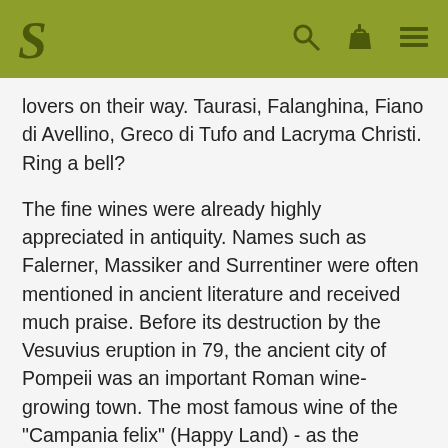S [logo] [search icon] [basket icon] [menu icon]
lovers on their way. Taurasi, Falanghina, Fiano di Avellino, Greco di Tufo and Lacryma Christi. Ring a bell?
The fine wines were already highly appreciated in antiquity. Names such as Falerner, Massiker and Surrentiner were often mentioned in ancient literature and received much praise. Before its destruction by the Vesuvius eruption in 79, the ancient city of Pompeii was an important Roman wine-growing town. The most famous wine of the "Campania felix" (Happy Land) - as the Romans called the region previously inhabited by Greek settlers - bears the name Lacryma Christi (Tear of Christ).